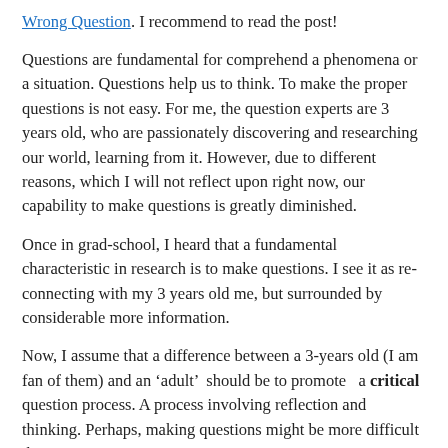Wrong Question. I recommend to read the post!
Questions are fundamental for comprehend a phenomena or a situation. Questions help us to think. To make the proper questions is not easy. For me, the question experts are 3 years old, who are passionately discovering and researching our world, learning from it. However, due to different reasons, which I will not reflect upon right now, our capability to make questions is greatly diminished.
Once in grad-school, I heard that a fundamental characteristic in research is to make questions. I see it as re-connecting with my 3 years old me, but surrounded by considerable more information.
Now, I assume that a difference between a 3-years old (I am fan of them) and an ‘adult’  should be to promote   a critical question process. A process involving reflection and thinking. Perhaps, making questions might be more difficult than to